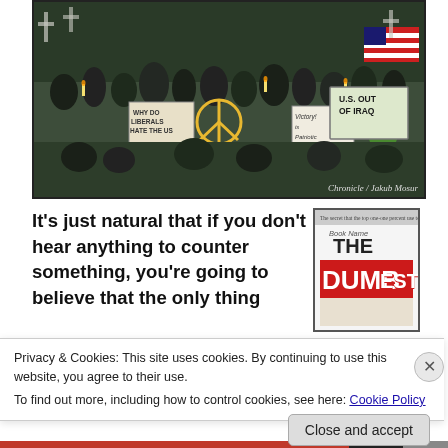[Figure (photo): Protest crowd holding signs including 'U.S. OUT OF IRAQ', 'Why do liberals hate the US', 'Victory is Patriotic', peace symbols, American flags, candles and crosses in background.]
Chronicle / Jakub Mosur
It's just natural that if you don't hear anything to counter something, you're going to believe that the only thing
[Figure (photo): Book cover showing 'THE DUMBEST' in large red and white text on a white/light background.]
Privacy & Cookies: This site uses cookies. By continuing to use this website, you agree to their use.
To find out more, including how to control cookies, see here: Cookie Policy